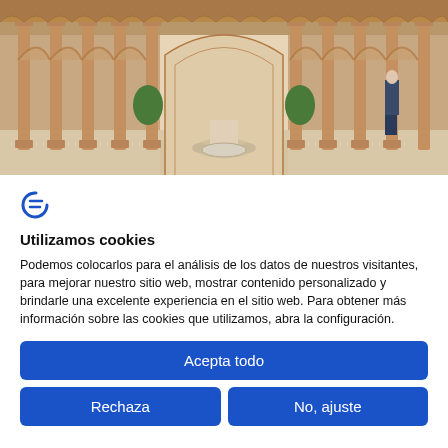[Figure (photo): Photo of the Alhambra Court of the Lions - ornate Moorish columns and arches with a central fountain, a man in a suit visible on the right side]
[Figure (logo): Blue stylized letter C or Euro-like logo icon]
Utilizamos cookies
Podemos colocarlos para el análisis de los datos de nuestros visitantes, para mejorar nuestro sitio web, mostrar contenido personalizado y brindarle una excelente experiencia en el sitio web. Para obtener más información sobre las cookies que utilizamos, abra la configuración.
Acepta todo
Rechaza
No, ajuste